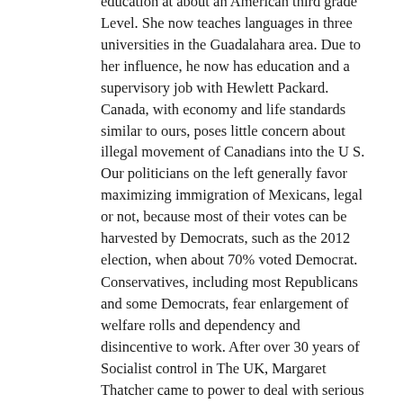education at about an American third grade Level. She now teaches languages in three universities in the Guadalahara area. Due to her influence, he now has education and a supervisory job with Hewlett Packard. Canada, with economy and life standards similar to ours, poses little concern about illegal movement of Canadians into the U S. Our politicians on the left generally favor maximizing immigration of Mexicans, legal or not, because most of their votes can be harvested by Democrats, such as the 2012 election, when about 70% voted Democrat.
Conservatives, including most Republicans and some Democrats, fear enlargement of welfare rolls and dependency and disincentive to work. After over 30 years of Socialist control in The UK, Margaret Thatcher came to power to deal with serious decline in the economy, poor quality of